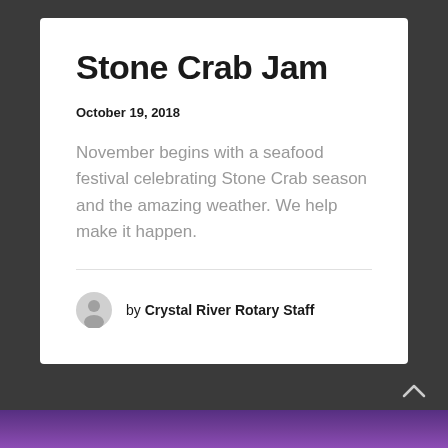Stone Crab Jam
October 19, 2018
November begins with a seafood festival celebrating Stone Crab season and the amazing weather. We help make it happen.
by Crystal River Rotary Staff
LOAD MORE